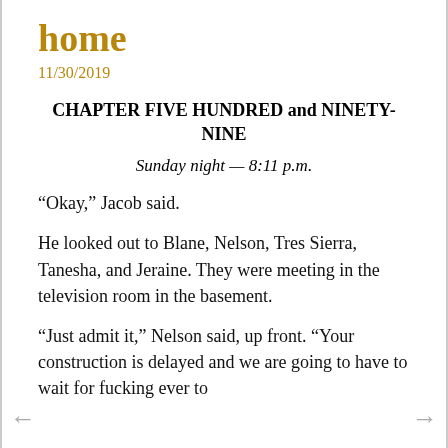home
11/30/2019
CHAPTER FIVE HUNDRED and NINETY-NINE
Sunday night — 8:11 p.m.
“Okay,” Jacob said.
He looked out to Blane, Nelson, Tres Sierra, Tanesha, and Jeraine. They were meeting in the television room in the basement.
“Just admit it,” Nelson said, up front. “Your construction is delayed and we are going to have to wait for fucking ever to